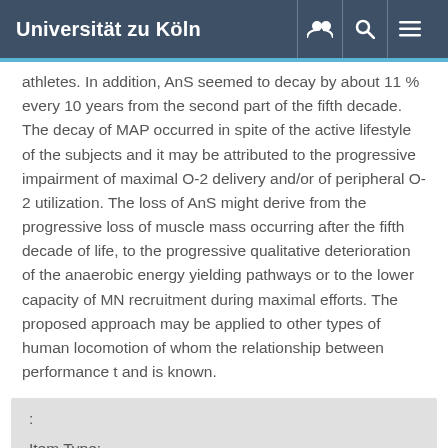Universität zu Köln
athletes. In addition, AnS seemed to decay by about 11 % every 10 years from the second part of the fifth decade. The decay of MAP occurred in spite of the active lifestyle of the subjects and it may be attributed to the progressive impairment of maximal O-2 delivery and/or of peripheral O-2 utilization. The loss of AnS might derive from the progressive loss of muscle mass occurring after the fifth decade of life, to the progressive qualitative deterioration of the anaerobic energy yielding pathways or to the lower capacity of MN recruitment during maximal efforts. The proposed approach may be applied to other types of human locomotion of whom the relationship between performance t and is known.
:

Item Type: